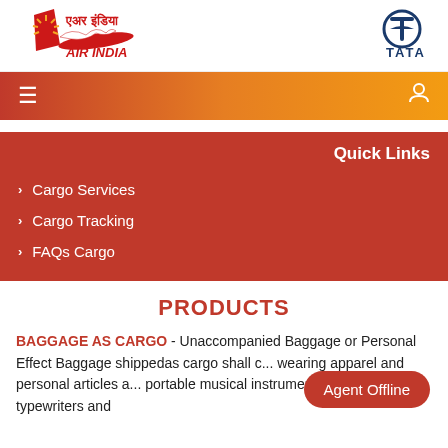[Figure (logo): Air India logo with Hindi/Devanagari script and flying swan, plus TATA logo on the right]
[Figure (screenshot): Navigation bar with hamburger menu icon on left and user/profile icon on right, gradient red-to-orange background]
Quick Links
Cargo Services
Cargo Tracking
FAQs Cargo
PRODUCTS
BAGGAGE AS CARGO - Unaccompanied Baggage or Personal Effect Baggage shippedas cargo shall c... wearing apparel and personal articles a... portable musical instruments, portable typewriters and
[Figure (other): Agent Offline chat button, red rounded rectangle]